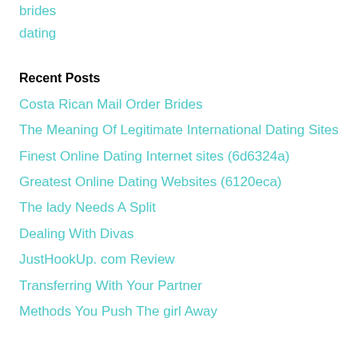brides
dating
Recent Posts
Costa Rican Mail Order Brides
The Meaning Of Legitimate International Dating Sites
Finest Online Dating Internet sites (6d6324a)
Greatest Online Dating Websites (6120eca)
The lady Needs A Split
Dealing With Divas
JustHookUp. com Review
Transferring With Your Partner
Methods You Push The girl Away